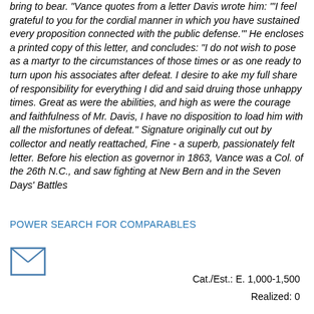bring to bear. "Vance quotes from a letter Davis wrote him: "'I feel grateful to you for the cordial manner in which you have sustained every proposition connected with the public defense.'" He encloses a printed copy of this letter, and concludes: "I do not wish to pose as a martyr to the circumstances of those times or as one ready to turn upon his associates after defeat. I desire to ake my full share of responsibility for everything I did and said druing those unhappy times. Great as were the abilities, and high as were the courage and faithfulness of Mr. Davis, I have no disposition to load him with all the misfortunes of defeat." Signature originally cut out by collector and neatly reattached, Fine - a superb, passionately felt letter. Before his election as governor in 1863, Vance was a Col. of the 26th N.C., and saw fighting at New Bern and in the Seven Days' Battles
POWER SEARCH FOR COMPARABLES
[Figure (other): Envelope/mail icon - a small square envelope symbol]
Cat./Est.: E. 1,000-1,500
Realized: 0